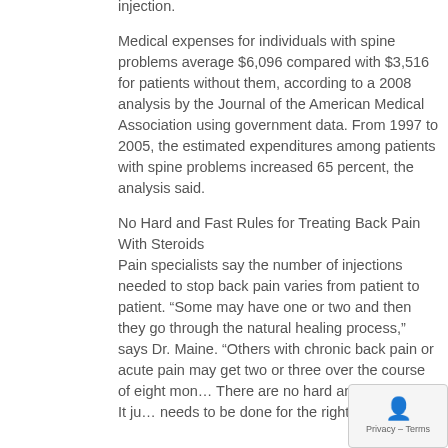injection.
Medical expenses for individuals with spine problems average $6,096 compared with $3,516 for patients without them, according to a 2008 analysis by the Journal of the American Medical Association using government data. From 1997 to 2005, the estimated expenditures among patients with spine problems increased 65 percent, the analysis said.
No Hard and Fast Rules for Treating Back Pain With Steroids
Pain specialists say the number of injections needed to stop back pain varies from patient to patient. “Some may have one or two and then they go through the natural healing process,” says Dr. Maine. “Others with chronic back pain or acute pain may get two or three over the course of eight mon… There are no hard and fast rules. It ju… needs to be done for the right indicati…